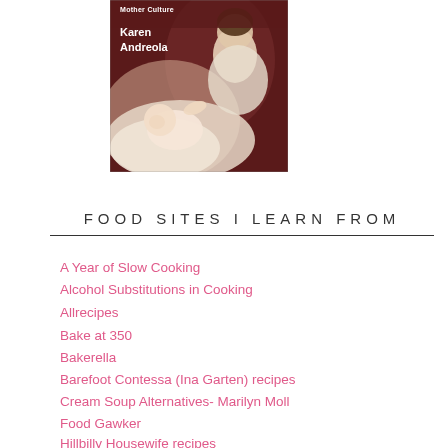[Figure (illustration): Book cover showing a painting of a mother and baby with author name Karen Andreola and partial title text visible]
FOOD SITES I LEARN FROM
A Year of Slow Cooking
Alcohol Substitutions in Cooking
Allrecipes
Bake at 350
Bakerella
Barefoot Contessa (Ina Garten) recipes
Cream Soup Alternatives- Marilyn Moll
Food Gawker
Hillbilly Housewife recipes